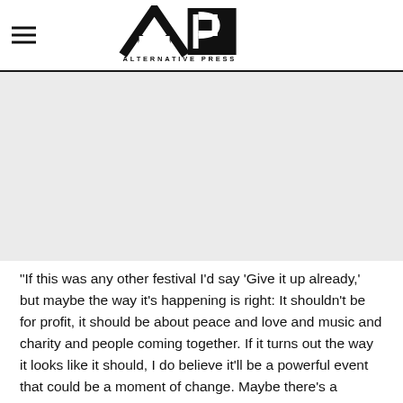[Figure (logo): Alternative Press (AP) logo — bold stylized AP letters with 'ALTERNATIVE PRESS' text below]
“If this was any other festival I’d say ‘Give it up already,’ but maybe the way it’s happening is right: It shouldn’t be for profit, it should be about peace and love and music and charity and people coming together. If it turns out the way it looks like it should, I do believe it’ll be a powerful event that could be a moment of change. Maybe there’s a reason it hasn’t gone